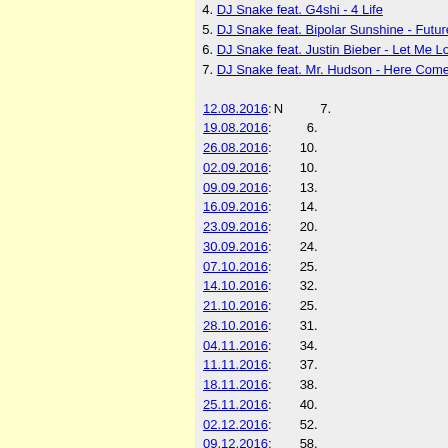4. DJ Snake feat. G4shi - 4 Life
5. DJ Snake feat. Bipolar Sunshine - Future Pt 2
6. DJ Snake feat. Justin Bieber - Let Me Love Yo
7. DJ Snake feat. Mr. Hudson - Here Comes The
12.08.2016: N 7.
19.08.2016: 6.
26.08.2016: 10.
02.09.2016: 10.
09.09.2016: 13.
16.09.2016: 14.
23.09.2016: 20.
30.09.2016: 24.
07.10.2016: 25.
14.10.2016: 32.
21.10.2016: 25.
28.10.2016: 31.
04.11.2016: 34.
11.11.2016: 37.
18.11.2016: 38.
25.11.2016: 40.
02.12.2016: 52.
09.12.2016: 58.
30.12.2016: R 59.
06.01.2017: 38.
13.01.2017: 38.
20.01.2017: 38.
27.01.2017: 32.
03.02.2017: 34.
10.02.2017: 36.